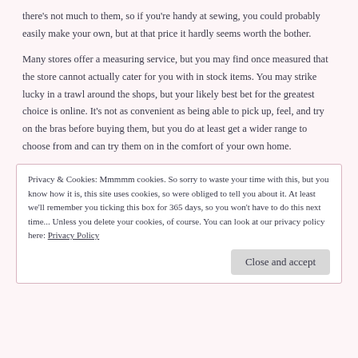there's not much to them, so if you're handy at sewing, you could probably easily make your own, but at that price it hardly seems worth the bother.
Many stores offer a measuring service, but you may find once measured that the store cannot actually cater for you with in stock items. You may strike lucky in a trawl around the shops, but your likely best bet for the greatest choice is online. It's not as convenient as being able to pick up, feel, and try on the bras before buying them, but you do at least get a wider range to choose from and can try them on in the comfort of your own home.
Privacy & Cookies: Mmmmm cookies. So sorry to waste your time with this, but you know how it is, this site uses cookies, so were obliged to tell you about it. At least we'll remember you ticking this box for 365 days, so you won't have to do this next time... Unless you delete your cookies, of course. You can look at our privacy policy here: Privacy Policy
Close and accept